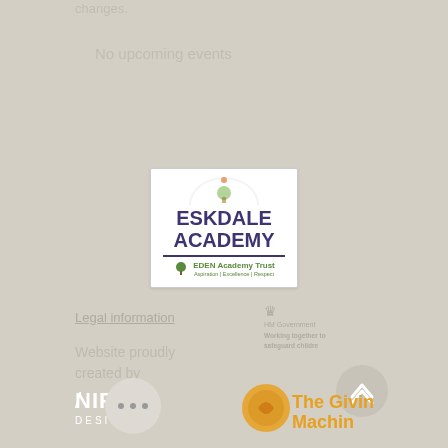changes.
No upcoming events
[Figure (logo): Eskdale Academy logo with EDEN Academy Trust branding. White rectangular background with arch shape at top, bold navy text reading ESKDALE ACADEMY, horizontal divider line, green tree icon and EDEN Academy Trust text with tagline Aspiration | Excellence | Respect]
Legal information
[Figure (logo): HM Government logo with crown icon and text: HM Government, Working together to safeguard children]
Website proudly created by
[Figure (logo): NIFTY DESIGN logo in white bold text]
[Figure (logo): The Giving Machine logo in orange with circular icon]
[Figure (other): Circular scroll-to-top button with upward chevron arrows]
[Figure (other): Circular chat/menu button with three dots]